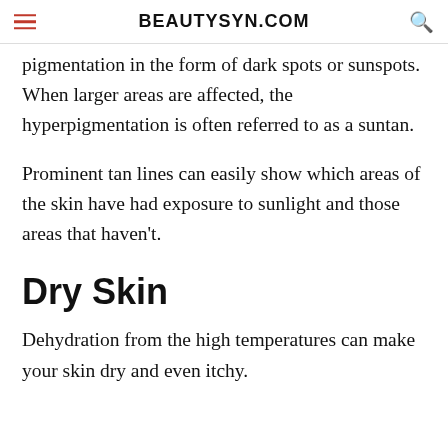BEAUTYSYN.COM
pigmentation in the form of dark spots or sunspots. When larger areas are affected, the hyperpigmentation is often referred to as a suntan.
Prominent tan lines can easily show which areas of the skin have had exposure to sunlight and those areas that haven't.
Dry Skin
Dehydration from the high temperatures can make your skin dry and even itchy.